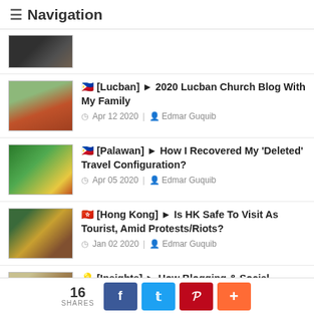≡ Navigation
[Figure (photo): Small thumbnail of a dark indoor scene, partially cropped at top]
🇵🇭 [Lucban] ► 2020 Lucban Church Blog With My Family | Apr 12 2020 | Edmar Guquib
🇵🇭 [Palawan] ► How I Recovered My 'Deleted' Travel Configuration? | Apr 05 2020 | Edmar Guquib
🇭🇰 [Hong Kong] ► Is HK Safe To Visit As Tourist, Amid Protests/Riots? | Jan 02 2020 | Edmar Guquib
🌍 [Insights] ► How Blogging & Social Media Personally Affected Me? | Nov 03 2019 | Edmar Guquib
16 SHARES | Facebook | Twitter | Pinterest | More